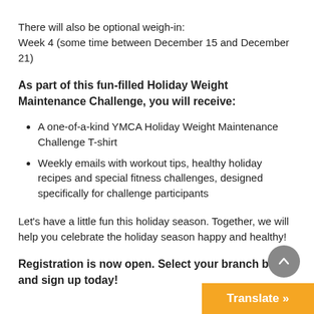There will also be optional weigh-in:
Week 4 (some time between December 15 and December 21)
As part of this fun-filled Holiday Weight Maintenance Challenge, you will receive:
A one-of-a-kind YMCA Holiday Weight Maintenance Challenge T-shirt
Weekly emails with workout tips, healthy holiday recipes and special fitness challenges, designed specifically for challenge participants
Let's have a little fun this holiday season. Together, we will help you celebrate the holiday season happy and healthy!
Registration is now open. Select your branch below and sign up today!